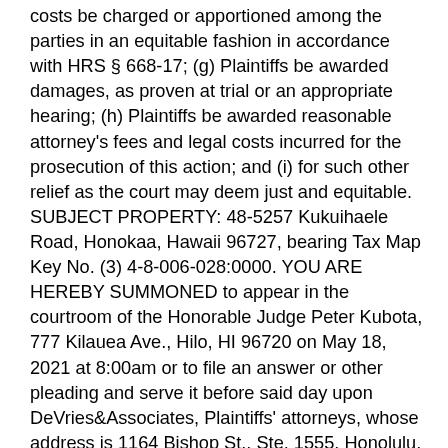costs be charged or apportioned among the parties in an equitable fashion in accordance with HRS § 668-17; (g) Plaintiffs be awarded damages, as proven at trial or an appropriate hearing; (h) Plaintiffs be awarded reasonable attorney's fees and legal costs incurred for the prosecution of this action; and (i) for such other relief as the court may deem just and equitable. SUBJECT PROPERTY: 48-5257 Kukuihaele Road, Honokaa, Hawaii 96727, bearing Tax Map Key No. (3) 4-8-006-028:0000. YOU ARE HEREBY SUMMONED to appear in the courtroom of the Honorable Judge Peter Kubota, 777 Kilauea Ave., Hilo, HI 96720 on May 18, 2021 at 8:00am or to file an answer or other pleading and serve it before said day upon DeVries&Associates, Plaintiffs' attorneys, whose address is 1164 Bishop St., Ste. 1555, Honolulu, HI 96813. If you fail to do so, judgment by default will be taken against you for the relief demanded in the complaint. DATED: Hilo, Hawaii – March 5, 2021. /signed/Clerk of the Circuit Court, Third Circuit. (HTH1318997 3/15, 3/22, 3/29, 4/5/21)